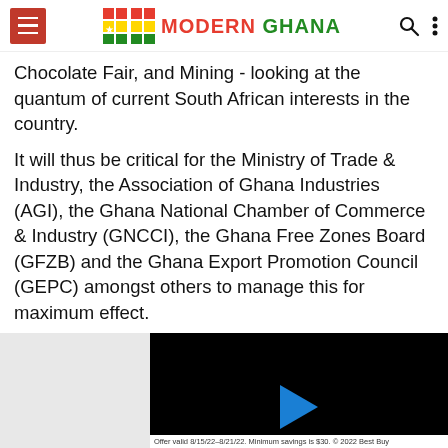Modern Ghana navigation header
Chocolate Fair, and Mining - looking at the quantum of current South African interests in the country.
It will thus be critical for the Ministry of Trade & Industry, the Association of Ghana Industries (AGI), the Ghana National Chamber of Commerce & Industry (GNCCI), the Ghana Free Zones Board (GFZB) and the Ghana Export Promotion Council (GEPC) amongst others to manage this for maximum effect.
[Figure (screenshot): Embedded video player (black rectangle with blue play button) overlapping the article, with a Best Buy advertisement bar at the bottom showing 'Offer valid 8/15/22-8/21/22. Minimum savings is $30. © 2022 Best Buy']
I would also wish assembly... Cup to